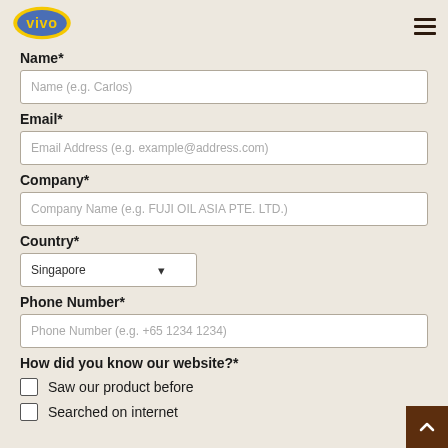vivo logo and navigation
Name*
Name (e.g. Carlos)
Email*
Email Address (e.g. example@address.com)
Company*
Company Name (e.g. FUJI OIL ASIA PTE. LTD.)
Country*
Singapore
Phone Number*
Phone Number (e.g. +65 1234 1234)
How did you know our website?*
Saw our product before
Searched on internet